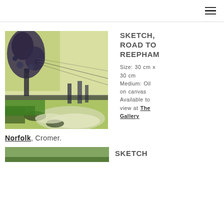≡
[Figure (illustration): Oil painting of a road scene with trees and green fields, 'Sketch, Road to Reepham']
SKETCH, ROAD TO REEPHAM
Size: 30 cm x 30 cm Medium: Oil on canvas Available to view at The Gallery Norfolk, Cromer.
[Figure (illustration): Partial view of a second painting at bottom of page]
SKETCH